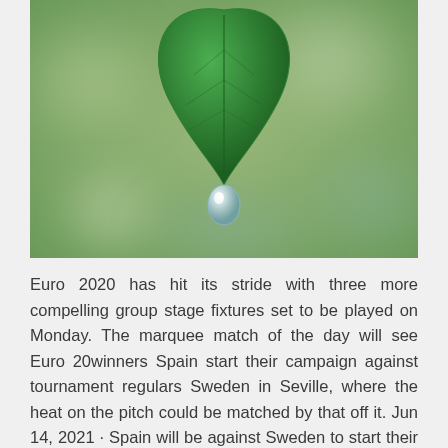[Figure (photo): Close-up photograph of a green leaf with a water droplet hanging from its tip, against a blurred green background.]
Euro 2020 has hit its stride with three more compelling group stage fixtures set to be played on Monday. The marquee match of the day will see Euro 20winners Spain start their campaign against tournament regulars Sweden in Seville, where the heat on the pitch could be matched by that off it. Jun 14, 2021 · Spain will be against Sweden to start their UEFA Euro 2020